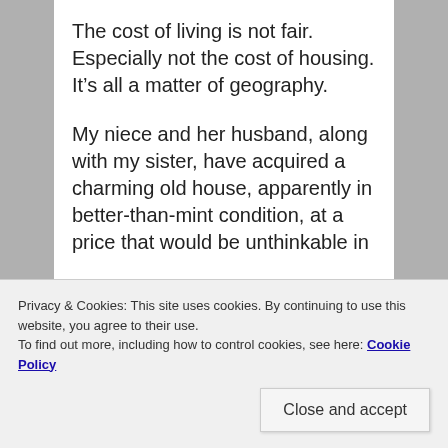The cost of living is not fair. Especially not the cost of housing. It’s all a matter of geography.
My niece and her husband, along with my sister, have acquired a charming old house, apparently in better-than-mint condition, at a price that would be unthinkable in
Privacy & Cookies: This site uses cookies. By continuing to use this website, you agree to their use.
To find out more, including how to control cookies, see here: Cookie Policy